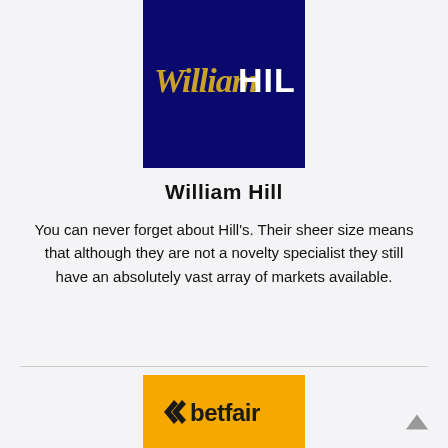[Figure (logo): William Hill logo: dark navy blue square background with gold italic script 'William' and bold white capital 'HILL' text]
William Hill
You can never forget about Hill's. Their sheer size means that although they are not a novelty specialist they still have an absolutely vast array of markets available.
[Figure (logo): Betfair logo: golden/amber yellow square background with black betfair logo (arrow icon and 'betfair' text)]